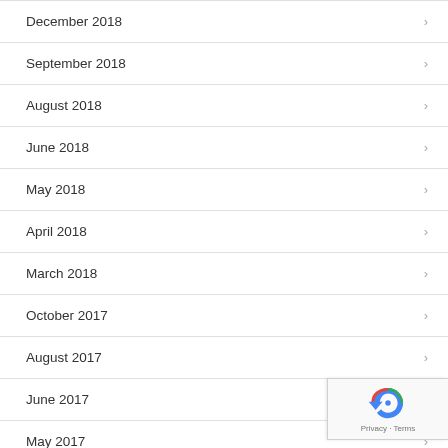December 2018
September 2018
August 2018
June 2018
May 2018
April 2018
March 2018
October 2017
August 2017
June 2017
May 2017
December 2016